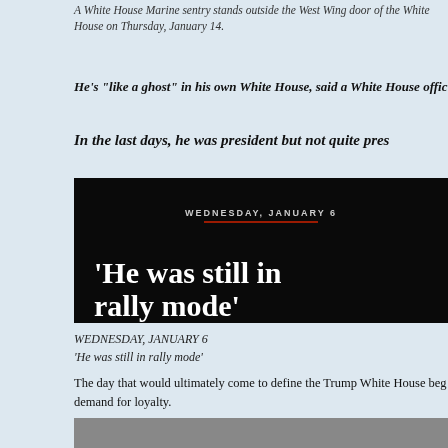A White House Marine sentry stands outside the West Wing door of the White House on Thursday, January 14.
He’s “like a ghost” in his own White House, said a White House offic…
In the last days, he was president but not quite pres…
[Figure (screenshot): Dark banner image with text: WEDNESDAY, JANUARY 6 (in small caps with red underline) and large bold serif white text: ‘He was still in rally mode’]
WEDNESDAY, JANUARY 6
‘He was still in rally mode’
The day that would ultimately come to define the Trump White House beg… demand for loyalty.
In the Oval Office that morning, Trump pushed Mike Pence to use hi… position overseeing the certification of the Electoral College results… afternoon to block Biden’s victory. Trump had been promoting this ille… for days, but Pence had said nothing publicly. Finally, to his face, Pence t… president the Constitution wouldn’t allow it and he wouldn’t attempt it.
[Figure (photo): Photo at bottom of page, partially visible]